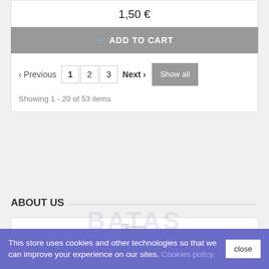1,50 €
ADD TO CART
‹ Previous  1  2  3  Next ›  Show all
Showing 1 - 20 of 53 items
ABOUT US
[Figure (logo): Shopping cart / store logo icon in light gray]
This store uses cookies and other technologies so that we can improve your experience on our sites. Cookies policy.
close